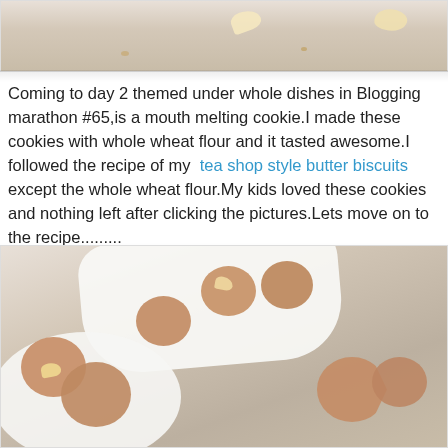[Figure (photo): Top portion of a food photo showing cashew nuts and crumbs on a light wooden surface]
Coming to day 2 themed under whole dishes in Blogging marathon #65,is a mouth melting cookie.I made these cookies with whole wheat flour and it tasted awesome.I followed the recipe of my  tea shop style butter biscuits except the whole wheat flour.My kids loved these cookies and nothing left after clicking the pictures.Lets move on to the recipe.........
[Figure (photo): Food photo of whole wheat cashew cookies arranged in white bowls and on a plate on a light wooden surface]